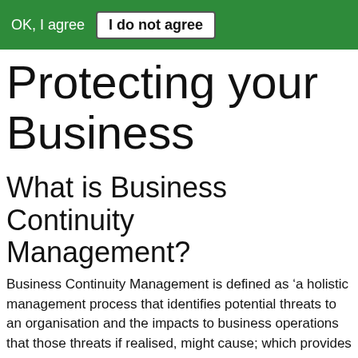OK, I agree   I do not agree
Protecting your Business
What is Business Continuity Management?
Business Continuity Management is defined as ‘a holistic management process that identifies potential threats to an organisation and the impacts to business operations that those threats if realised, might cause; which provides a framework for building organisational resilience with the